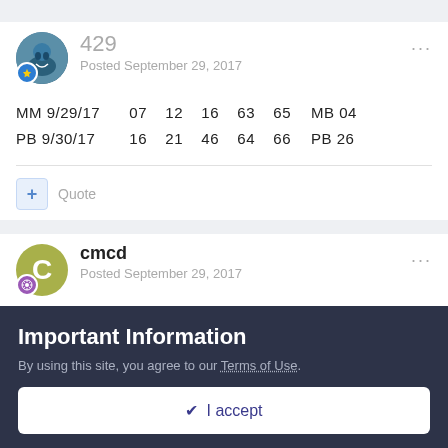429
Posted September 29, 2017
MM 9/29/17   07   12   16   63   65   MB 04
PB 9/30/17   16   21   46   64   66   PB 26
+ Quote
cmcd
Posted September 29, 2017
Important Information
By using this site, you agree to our Terms of Use.
I accept